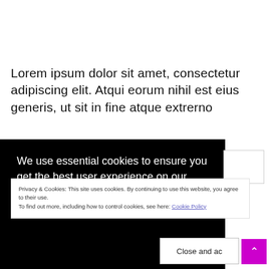Lorem ipsum dolor sit amet, consectetur adipiscing elit. Atqui eorum nihil est eius generis, ut sit in fine atque extrerno
[Figure (screenshot): Black overlay panel with white text: 'We use essential cookies to ensure you get the best user experience on our website. By...' partially visible, with a white box on the right side]
Privacy & Cookies: This site uses cookies. By continuing to use this website, you agree to their use.
To find out more, including how to control cookies, see here: Cookie Policy
Close and ac